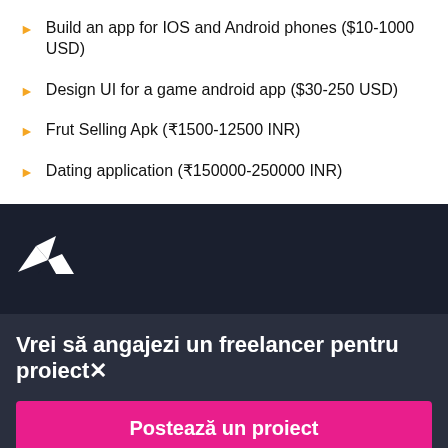Build an app for IOS and Android phones ($10-1000 USD)
Design UI for a game android app ($30-250 USD)
Frut Selling Apk (₹1500-12500 INR)
Dating application (₹150000-250000 INR)
[Figure (logo): Freelancer.com bird logo in white on dark navy background]
Vrei să angajezi un freelancer pentru proiect✕
Postează un proiect